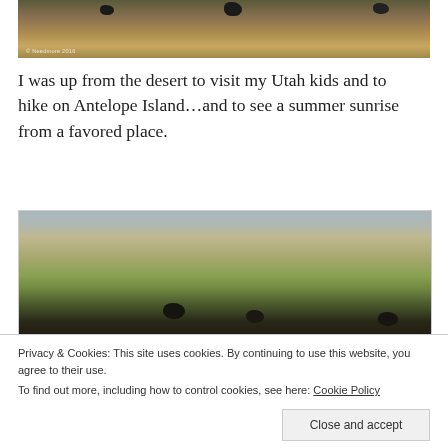[Figure (photo): Top portion of a landscape photo showing bison grazing on dry grassland, cropped to show only the bottom strip with animals and golden grass]
I was up from the desert to visit my Utah kids and to hike on Antelope Island…and to see a summer sunrise from a favored place.
[Figure (photo): Landscape photo of Antelope Island showing a wetland area with bands of water, green and golden vegetation, and a herd of bison in the foreground]
Privacy & Cookies: This site uses cookies. By continuing to use this website, you agree to their use.
To find out more, including how to control cookies, see here: Cookie Policy
Close and accept